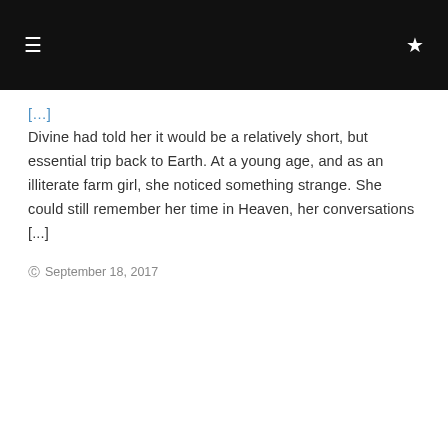≡  ★
Divine had told her it would be a relatively short, but essential trip back to Earth. At a young age, and as an illiterate farm girl, she noticed something strange. She could still remember her time in Heaven, her conversations [...]
September 18, 2017